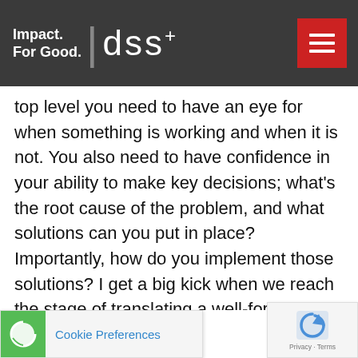Impact. For Good. | dss+
top level you need to have an eye for when something is working and when it is not. You also need to have confidence in your ability to make key decisions; what's the root cause of the problem, and what solutions can you put in place? Importantly, how do you implement those solutions? I get a big kick when we reach the stage of translating a well-formulated strategy into reality. It's like being a snowplough forging a clear path ahead and then inspiring people to follow the vision you have created. For me, it's not about helping organisations maintain the status quo. On the contrary, I always look to challenge and explore a better way of doing something. It's exciting to be involved in shaping the future, but to initiate real change...